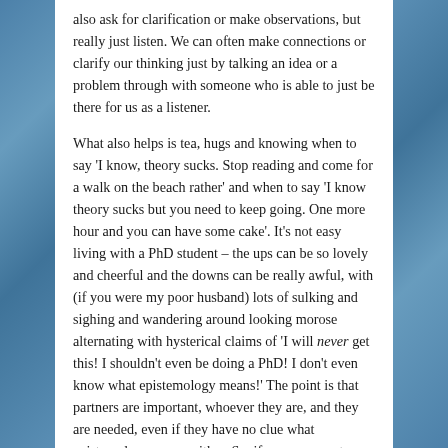also ask for clarification or make observations, but really just listen. We can often make connections or clarify our thinking just by talking an idea or a problem through with someone who is able to just be there for us as a listener.
What also helps is tea, hugs and knowing when to say 'I know, theory sucks. Stop reading and come for a walk on the beach rather' and when to say 'I know theory sucks but you need to keep going. One more hour and you can have some cake'. It's not easy living with a PhD student – the ups can be so lovely and cheerful and the downs can be really awful, with (if you were my poor husband) lots of sulking and sighing and wandering around looking morose alternating with hysterical claims of 'I will never get this! I shouldn't even be doing a PhD! I don't even know what epistemology means!' The point is that partners are important, whoever they are, and they are needed, even if they have no clue what epistemology means either. So, if you are a partner of a PhD student, take heart. The madness doesn't last forever, you will get your